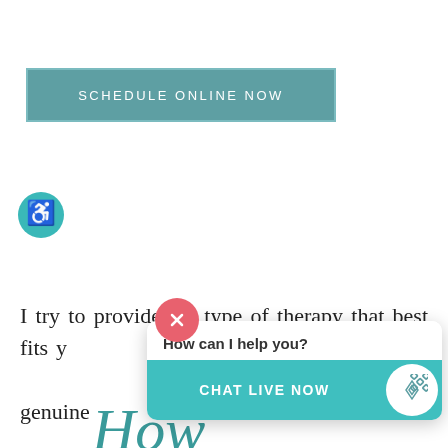[Figure (other): Teal rectangular button with text SCHEDULE ONLINE NOW in white uppercase letters]
How I Work
I try to provide the type of therapy that best fits y[ou, and to ensure] that you feel [heard, respected,] valued in our sessions. Our genuine
[Figure (other): Live chat widget overlay with close button (pink X), 'How can I help you?' text, and a teal CHAT LIVE NOW button with a diamond logo]